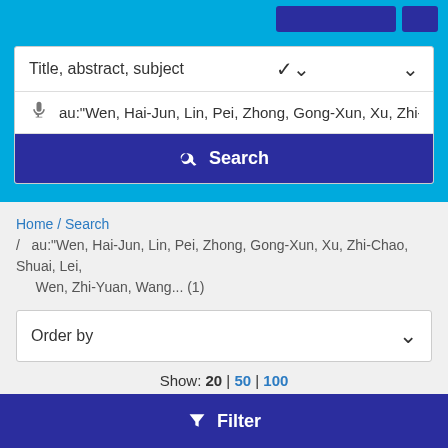Title, abstract, subject
au:"Wen, Hai-Jun, Lin, Pei, Zhong, Gong-Xun, Xu, Zhi-C
Search
Home / Search / au:"Wen, Hai-Jun, Lin, Pei, Zhong, Gong-Xun, Xu, Zhi-Chao, Shuai, Lei, Wen, Zhi-Yuan, Wang... (1)
Order by
Show: 20 | 50 | 100
Results 1 - 1 de 1
Filter